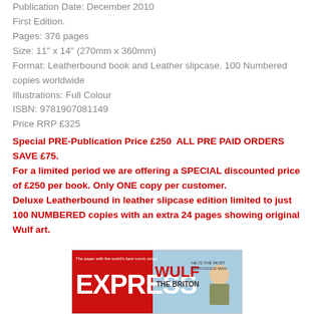Publication Date: December 2010
First Edition.
Pages: 376 pages
Size: 11" x 14" (270mm x 360mm)
Format: Leatherbound book and Leather slipcase. 100 Numbered copies worldwide
Illustrations: Full Colour
ISBN: 9781907081149
Price RRP £325
Special PRE-Publication Price £250  ALL PRE PAID ORDERS SAVE £75.
For a limited period we are offering a SPECIAL discounted price of £250 per book. Only ONE copy per customer.
Deluxe Leatherbound in leather slipcase edition limited to just 100 NUMBERED copies with an extra 24 pages showing original Wulf art.
[Figure (illustration): Magazine cover showing EXPRESS featuring Wulf the Briton comic strip]